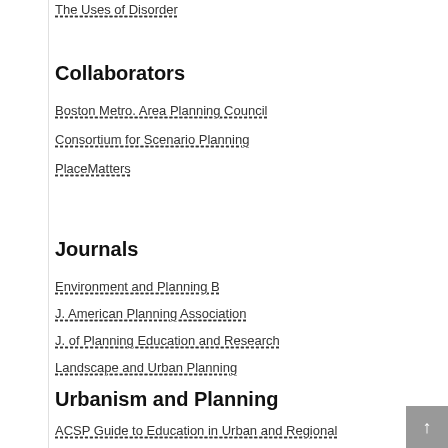The Uses of Disorder
Collaborators
Boston Metro. Area Planning Council
Consortium for Scenario Planning
PlaceMatters
Journals
Environment and Planning B
J. American Planning Association
J. of Planning Education and Research
Landscape and Urban Planning
Urbanism and Planning
ACSP Guide to Education in Urban and Regional